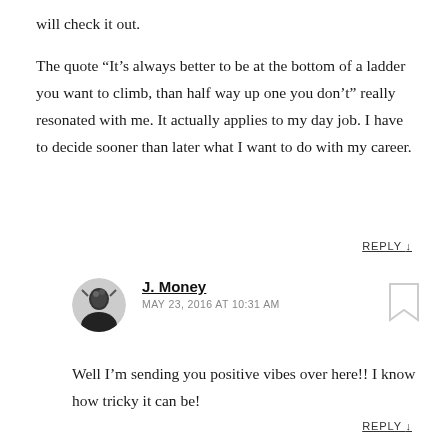will check it out.
The quote “It’s always better to be at the bottom of a ladder you want to climb, than half way up one you don’t” really resonated with me. It actually applies to my day job. I have to decide sooner than later what I want to do with my career.
REPLY ↓
J. Money
MAY 23, 2016 AT 10:31 AM
Well I’m sending you positive vibes over here!! I know how tricky it can be!
REPLY ↓